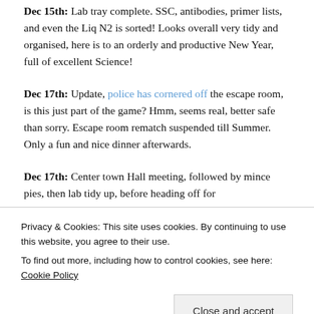Dec 15th: Lab tray complete. SSC, antibodies, primer lists, and even the Liq N2 is sorted! Looks overall very tidy and organised, here is to an orderly and productive New Year, full of excellent Science!
Dec 17th: Update, police has cornered off the escape room, is this just part of the game? Hmm, seems real, better safe than sorry. Escape room rematch suspended till Summer. Only a fun and nice dinner afterwards.
Dec 17th: Center town Hall meeting, followed by mince pies, then lab tidy up, before heading off for
Privacy & Cookies: This site uses cookies. By continuing to use this website, you agree to their use.
To find out more, including how to control cookies, see here: Cookie Policy
Close and accept
the Guttman lab is accepted.